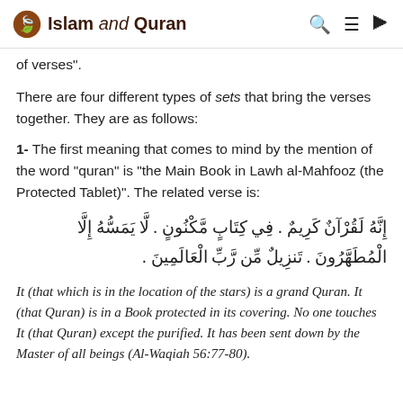Islam and Quran
of verses".
There are four different types of sets that bring the verses together. They are as follows:
1- The first meaning that comes to mind by the mention of the word “quran” is “the Main Book in Lawh al-Mahfooz (the Protected Tablet)”. The related verse is:
إِنَّهُ لَقُرْآنٌ كَرِيمٌ . فِي كِتَابِ مَّكْنُونِ . لَّا يَمَسُّهُ إِلَّا الْمُطَهَّرُونَ . تَنزِيلٌ مِّن رَّبِ الْعَالَمِينَ .
It (that which is in the location of the stars) is a grand Quran. It (that Quran) is in a Book protected in its covering. No one touches It (that Quran) except the purified. It has been sent down by the Master of all beings (Al-Waqiah 56:77-80).